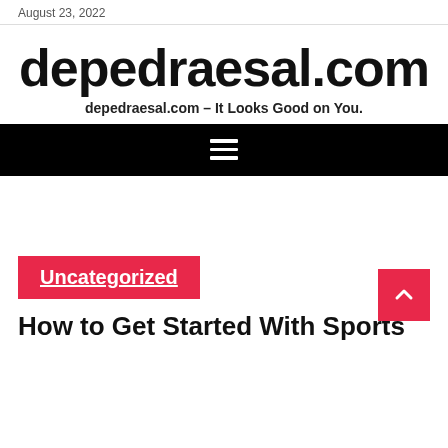August 23, 2022
depedraesal.com
depedraesal.com – It Looks Good on You.
[Figure (other): Black navigation bar with hamburger menu icon (three horizontal white lines)]
Uncategorized
How to Get Started With Sports